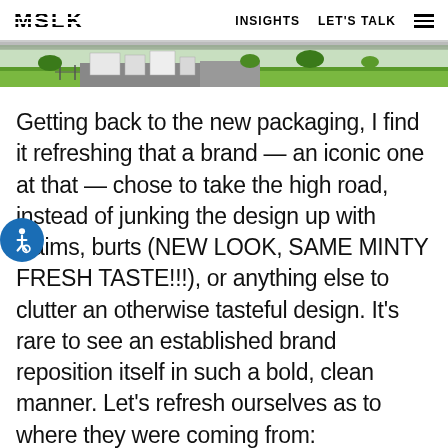MSLK   INSIGHTS   LET'S TALK
[Figure (photo): A narrow horizontal strip showing a partial outdoor scene with green grass, buildings or structures, and what appears to be a road or path area — top of a hero/banner image.]
Getting back to the new packaging, I find it refreshing that a brand — an iconic one at that — chose to take the high road, instead of junking the design up with claims, burts (NEW LOOK, SAME MINTY FRESH TASTE!!!), or anything else to clutter an otherwise tasteful design. It's rare to see an established brand reposition itself in such a bold, clean manner. Let's refresh ourselves as to where they were coming from: